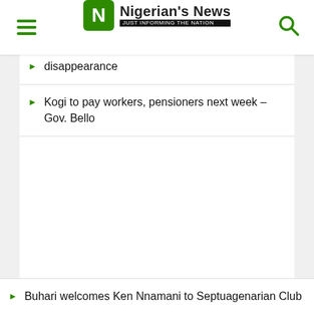Nigerian's News — JUST INFORMING THE NATION
disappearance
Kogi to pay workers, pensioners next week – Gov. Bello
Buhari welcomes Ken Nnamani to Septuagenarian Club